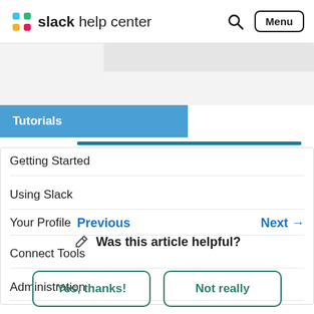slack help center
Tutorials
Getting Started
Using Slack
Your Profile
Connect Tools
Administration
Previous   Next →
✏ Was this article helpful?
Yes, thanks!
Not really